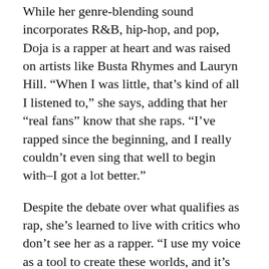While her genre-blending sound incorporates R&B, hip-hop, and pop, Doja is a rapper at heart and was raised on artists like Busta Rhymes and Lauryn Hill. “When I was little, that’s kind of all I listened to,” she says, adding that her “real fans” know that she raps. “I’ve rapped since the beginning, and I really couldn’t even sing that well to begin with–I got a lot better.”
Despite the debate over what qualifies as rap, she’s learned to live with critics who don’t see her as a rapper. “I use my voice as a tool to create these worlds, and it’s fine if people think that I can’t rap,” she says, adding, “The only person who should be rating hip-hop is an OG or somebody who is respected in hip-hop.”
One rapper who continues to inspire her is Nicki Minaj. “I think her as a businesswoman really inspired me,” Doja says of her “Say So” collaborator. “The way Nicki can carry herself felt almost alien to me, because I was kind of a little runty kid, trapped in her room, just watching YouTube videos. And back then I was like, ‘Damn, that’s dope.’”